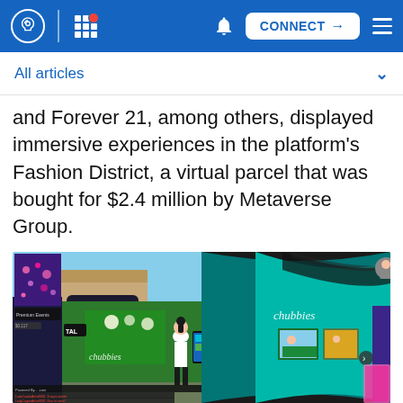Navigation bar with logo, grid menu, notification bell, CONNECT button, and hamburger menu
All articles
and Forever 21, among others, displayed immersive experiences in the platform's Fashion District, a virtual parcel that was bought for $2.4 million by Metaverse Group.
[Figure (screenshot): Screenshot of a metaverse virtual world showing a fashion district with a Chubbies brand store, avatars, portal signs, and virtual storefronts with a teal and black curved interior space on the right side.]